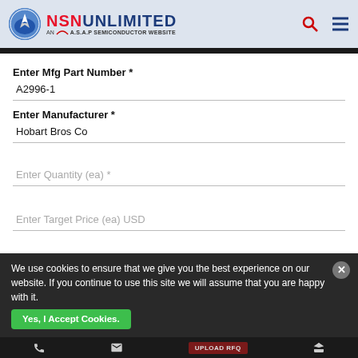NSN UNLIMITED — AN A.S.A.P SEMICONDUCTOR WEBSITE
Enter Mfg Part Number *
A2996-1
Enter Manufacturer *
Hobart Bros Co
Enter Quantity (ea) *
Enter Target Price (ea) USD
We use cookies to ensure that we give you the best experience on our website. If you continue to use this site we will assume that you are happy with it.
Yes, I Accept Cookies.